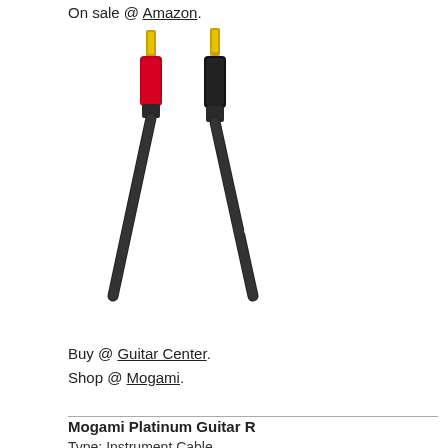On sale @ Amazon.
[Figure (photo): Two Mogami instrument cables with gold-tipped 1/4 inch TS connectors — one with a red boot and one with a black boot — both labeled 'mogami' on the cable body.]
Buy @ Guitar Center.
Shop @ Mogami.
Mogami Platinum Guitar R
Type: Instrument Cable
Length: 3 feet